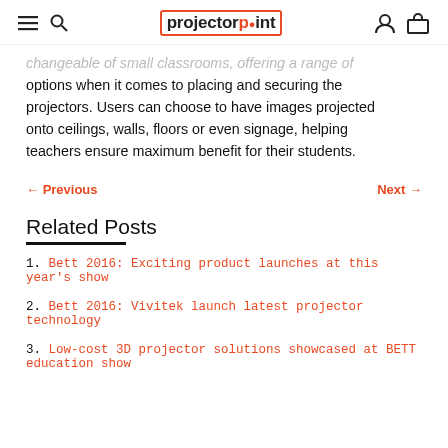projectorpoint
changeable of small classrooms, offering a range of options when it comes to placing and securing the projectors. Users can choose to have images projected onto ceilings, walls, floors or even signage, helping teachers ensure maximum benefit for their students.
← Previous   Next →
Related Posts
1. Bett 2016: Exciting product launches at this year's show
2. Bett 2016: Vivitek launch latest projector technology
3. Low-cost 3D projector solutions showcased at BETT education show